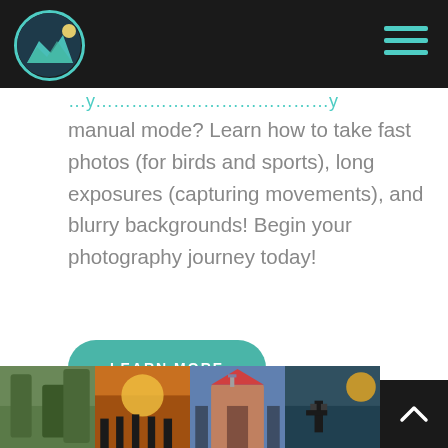[Navigation bar with logo and hamburger menu]
manual mode? Learn how to take fast photos (for birds and sports), long exposures (capturing movements), and blurry backgrounds! Begin your photography journey today!
LEARN MORE
[Figure (photo): Four thumbnail photos at the bottom: garden/green scene, people silhouetted at sunset, tourists at ornate building, person photographing at golden hour]
[Figure (other): Back to top arrow button, dark background with upward chevron]